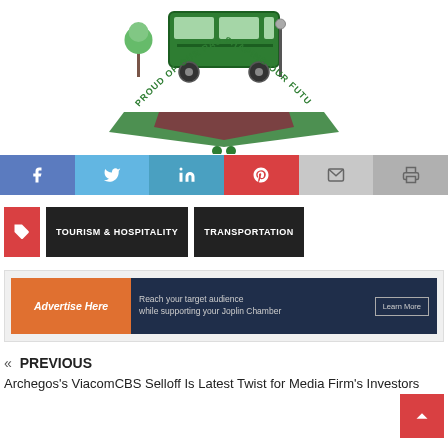[Figure (logo): Joplin Chamber logo with trolley/tram illustration and text 'Proud of Our Past, Shaping Our Future']
[Figure (infographic): Social media sharing buttons: Facebook, Twitter, LinkedIn, Pinterest, Email, Print]
TOURISM & HOSPITALITY
TRANSPORTATION
[Figure (infographic): Advertisement banner: 'Advertise Here. Reach your target audience while supporting your Joplin Chamber. Learn More']
« PREVIOUS
Archegos's ViacomCBS Selloff Is Latest Twist for Media Firm's Investors